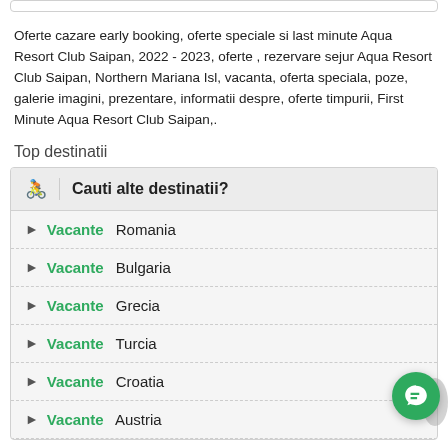Oferte cazare early booking, oferte speciale si last minute Aqua Resort Club Saipan, 2022 - 2023, oferte , rezervare sejur Aqua Resort Club Saipan, Northern Mariana Isl, vacanta, oferta speciala, poze, galerie imagini, prezentare, informatii despre, oferte timpurii, First Minute Aqua Resort Club Saipan,.
Top destinatii
Vacante Romania
Vacante Bulgaria
Vacante Grecia
Vacante Turcia
Vacante Croatia
Vacante Austria